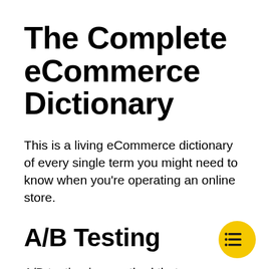The Complete eCommerce Dictionary
This is a living eCommerce dictionary of every single term you might need to know when you’re operating an online store.
A/B Testing
A/B testing is a method that compares two
[Figure (illustration): Yellow circular badge icon with a list/menu symbol in the bottom right corner of the page]